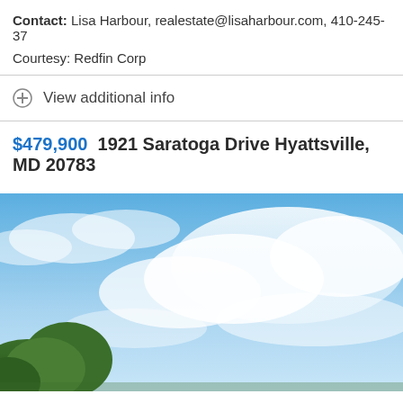Contact: Lisa Harbour, realestate@lisaharbour.com, 410-245-37
Courtesy: Redfin Corp
View additional info
$479,900  1921 Saratoga Drive Hyattsville, MD 20783
[Figure (photo): Outdoor photo showing a blue sky with white clouds and green trees in the foreground]